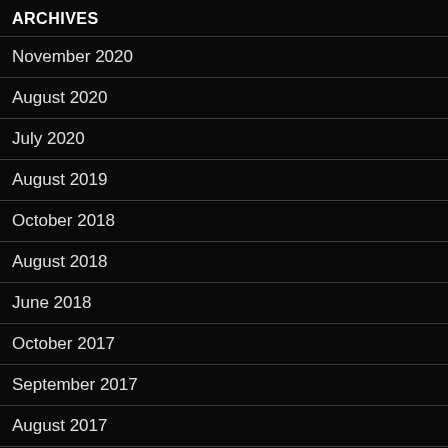ARCHIVES
November 2020
August 2020
July 2020
August 2019
October 2018
August 2018
June 2018
October 2017
September 2017
August 2017
July 2017